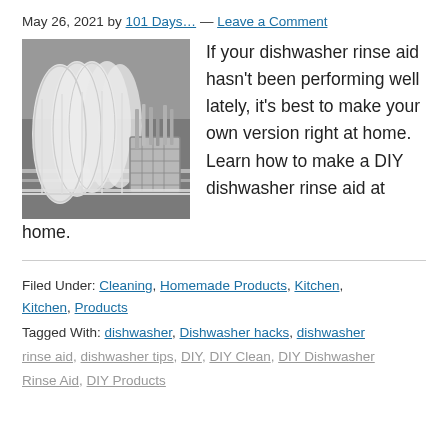May 26, 2021 by 101 Days... — Leave a Comment
[Figure (photo): Dishwasher rack loaded with white plates and silverware/utensils in a cutlery basket]
If your dishwasher rinse aid hasn't been performing well lately, it's best to make your own version right at home. Learn how to make a DIY dishwasher rinse aid at home.
Filed Under: Cleaning, Homemade Products, Kitchen, Kitchen, Products
Tagged With: dishwasher, Dishwasher hacks, dishwasher rinse aid, dishwasher tips, DIY, DIY Clean, DIY Dishwasher Rinse Aid, DIY Products